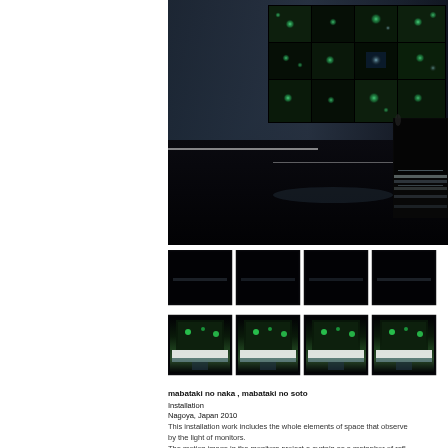[Figure (photo): Large installation photo showing a dark room with a wall of monitors displaying green glowing imagery (plants/nature), with a reflective dark floor. Side panels show monitor stacks.]
[Figure (photo): Grid of 8 smaller thumbnail photos showing the installation in sequence — top row shows dark monitor setup, bottom row shows monitors lit with green/blue content and white light from below.]
mabataki no naka , mabataki no soto
Installation
Nagoya, Japan 2010
This installation work includes the whole elements of space that observe... by the light of monitors.
The motion image in the monitors project a curtain as a metaphor of refl...